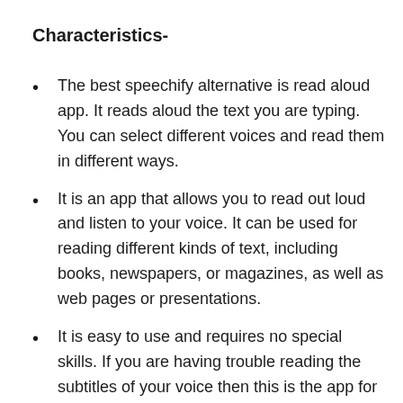Characteristics-
The best speechify alternative is read aloud app. It reads aloud the text you are typing. You can select different voices and read them in different ways.
It is an app that allows you to read out loud and listen to your voice. It can be used for reading different kinds of text, including books, newspapers, or magazines, as well as web pages or presentations.
It is easy to use and requires no special skills. If you are having trouble reading the subtitles of your voice then this is the app for you. Just